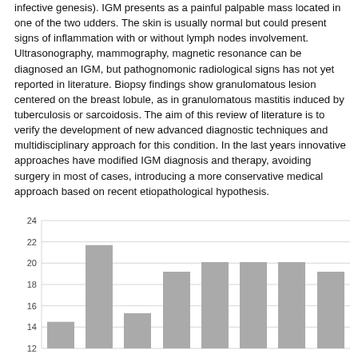infective genesis). IGM presents as a painful palpable mass located in one of the two udders. The skin is usually normal but could present signs of inflammation with or without lymph nodes involvement. Ultrasonography, mammography, magnetic resonance can be diagnosed an IGM, but pathognomonic radiological signs has not yet reported in literature. Biopsy findings show granulomatous lesion centered on the breast lobule, as in granulomatous mastitis induced by tuberculosis or sarcoidosis. The aim of this review of literature is to verify the development of new advanced diagnostic techniques and multidisciplinary approach for this condition. In the last years innovative approaches have modified IGM diagnosis and therapy, avoiding surgery in most of cases, introducing a more conservative medical approach based on recent etiopathological hypothesis.
[Figure (bar-chart): ]